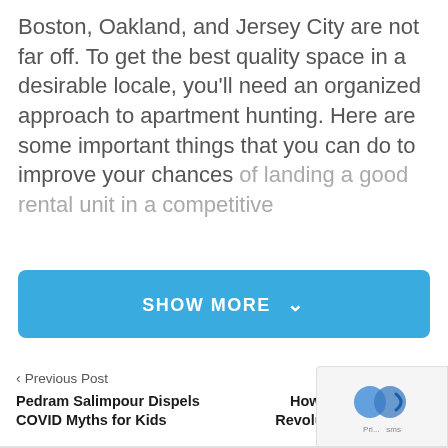Boston, Oakland, and Jersey City are not far off. To get the best quality space in a desirable locale, you'll need an organized approach to apartment hunting. Here are some important things that you can do to improve your chances of landing a good rental unit in a competitive
SHOW MORE ∨
< Previous Post
Next Post >
Pedram Salimpour Dispels COVID Myths for Kids
How AI & Big Data is Revolutionizing Work?